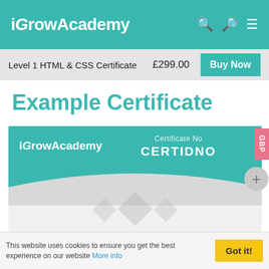iGrowAcademy
Level 1 HTML & CSS Certificate £299.00 Buy Now
Example Certificate
[Figure (screenshot): Example certificate preview showing iGrowAcademy logo, Certificate No CERTIDNO, and text 'This certificate is to verify that']
GBP
This website uses cookies to ensure you get the best experience on our website More info Got it!